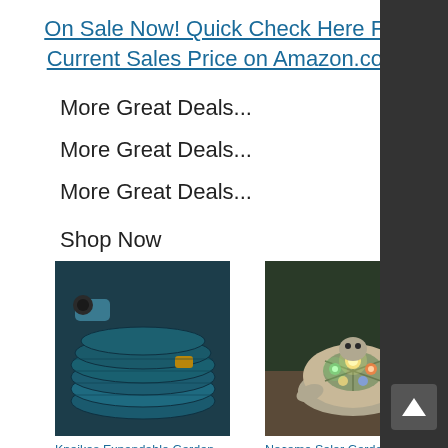On Sale Now! Quick Check Here For Current Sales Price on Amazon.com
More Great Deals...
More Great Deals...
More Great Deals...
Shop Now
[Figure (photo): Knoikos Expandable Garden Hose coiled up with spray nozzle attachment]
Knoikos Expandable Garden Hose 100ft - Expanding Water ...
[Figure (photo): Solar garden statue of a turtle figurine with illuminated succulents on its shell]
Nacome Solar Garden Statu Turtle Figurine with Succulen